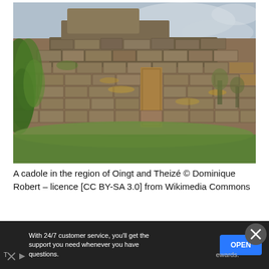[Figure (photo): A cadole (traditional dry-stone hut) in the region of Oingt and Theizé. Large stone wall with mossy and lichen-covered stones, a wooden doorframe visible in the center, green vegetation/ivy on the left, grassy slope at the base, cloudy sky in background.]
A cadole in the region of Oingt and Theizé © Dominique Robert – licence [CC BY-SA 3.0] from Wikimedia Commons
With 24/7 customer service, you'll get the support you need whenever you have questions.